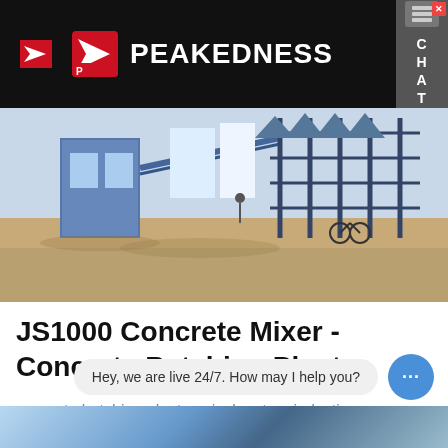[Figure (logo): Peakedness company logo with red arrow icon and white text on black background]
[Figure (photo): Outdoor photo of a concrete batching plant / concrete mixer facility with blue steel structures and equipment on a dirt construction site]
JS1000 Concrete Mixer - Concrete Batching Plant
concrete batching plant.conical motors,induction motors,crane motor,electric hoist,concrete mixer,concrete batching plant,...
Learn More
Hey, we are live 24/7. How may I help you?